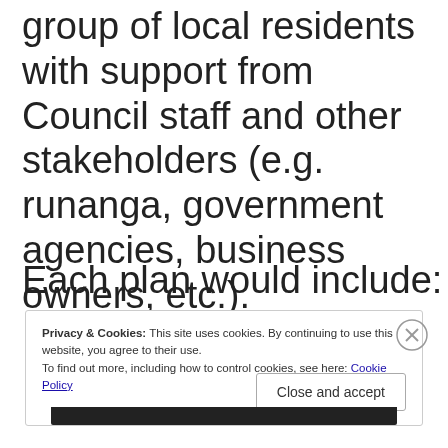would be facilitated by a steering group of local residents with support from Council staff and other stakeholders (e.g. runanga, government agencies, business owners, etc.).
Each plan would include:
Privacy & Cookies: This site uses cookies. By continuing to use this website, you agree to their use.
To find out more, including how to control cookies, see here: Cookie Policy